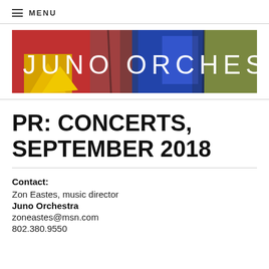≡ MENU
[Figure (logo): Juno Orchestra banner image with colorful abstract painted background and white text reading 'JUNO ORCHESTRA']
PR: CONCERTS, SEPTEMBER 2018
Contact:
Zon Eastes, music director
Juno Orchestra
zoneastes@msn.com
802.380.9550